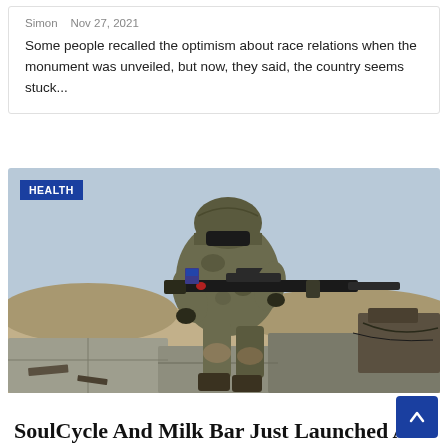Simon   Nov 27, 2021
Some people recalled the optimism about race relations when the monument was unveiled, but now, they said, the country seems stuck...
[Figure (photo): A soldier in full camouflage gear and helmet aiming a rifle with a scope, sitting on concrete blocks in a desert/military environment. A 'D-2' patch is visible on the chest. A blue 'HEALTH' badge is overlaid on the top-left of the image.]
SoulCycle And Milk Bar Just Launched A